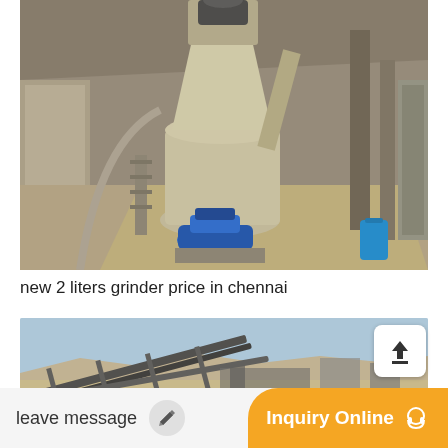[Figure (photo): Industrial grinding mill equipment inside a large warehouse/factory shed. A large vertical grinding mill with a blue electric motor at the base, connected to conveyor and ducting systems. The building has a metal roof and concrete floor.]
new 2 liters grinder price in chennai
[Figure (photo): Outdoor industrial site with conveyor belt structures and machinery visible against an arid landscape and blue sky.]
leave message
Inquiry Online